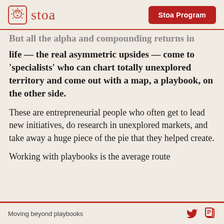stoa | Stoa Program
But all the alpha and compounding returns in life — the real asymmetric upsides — come to 'specialists' who can chart totally unexplored territory and come out with a map, a playbook, on the other side.
These are entrepreneurial people who often get to lead new initiatives, do research in unexplored markets, and take away a huge piece of the pie that they helped create.
Working with playbooks is the average route
Moving beyond playbooks